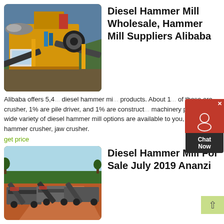[Figure (photo): Large yellow industrial diesel hammer mill / crusher machine on a construction or mining site, with conveyor belts and a blue sky background]
Diesel Hammer Mill Wholesale, Hammer Mill Suppliers Alibaba
Alibaba offers 5,4... diesel hammer mill products. About 1... of these are crusher, 1% are pile driver, and 1% are construction machinery parts. A wide variety of diesel hammer mill options are available to you, such as hammer crusher, jaw crusher.
get price
[Figure (photo): Multiple grey mobile crushing/screening plants lined up on a dusty red-earth mining site with trees and hills in background]
Diesel Hammer Mill For Sale July 2019 Ananzi
Explore 21 listings for Diesel hammer